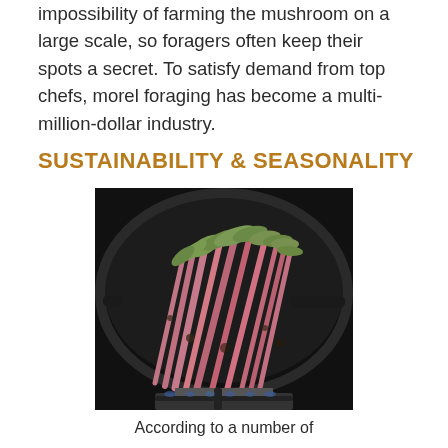impossibility of farming the mushroom on a large scale, so foragers often keep their spots a secret. To satisfy demand from top chefs, morel foraging has become a multi-million-dollar industry.
SUSTAINABILITY & SEASONALITY
[Figure (photo): A cast iron skillet on a gas burner containing ramp greens (wild leeks) being sautéed, showing pink/red stems and green tops.]
According to a number of